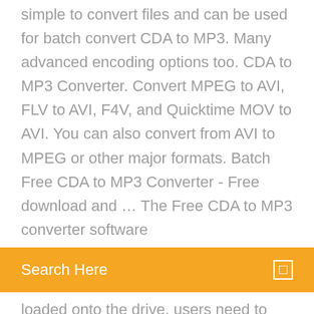simple to convert files and can be used for batch convert CDA to MP3. Many advanced encoding options too. CDA to MP3 Converter. Convert MPEG to AVI, FLV to AVI, F4V, and Quicktime MOV to AVI. You can also convert from AVI to MPEG or other major formats. Batch Free CDA to MP3 Converter - Free download and … The Free CDA to MP3 converter software
[Figure (other): Orange search bar with text 'Search Here' and a small icon on the right]
loaded onto the drive, users need to How to Convert CDA to MP3/WAV Then, click "Start" to change CDA files to MP3. By default, this program will rip each selected track into an individual file. Part 3 Convert CDA to MP3 with Windows Media Player. In a process known as ripping, Windows Media Player in Windows 10 can copy your CDs/CDA files to your PC as MP3 files. In this article I will show you how to convert CDA to MP3 format using Windows Media Player 12
Comment envoyer une application par bluetooth iphone